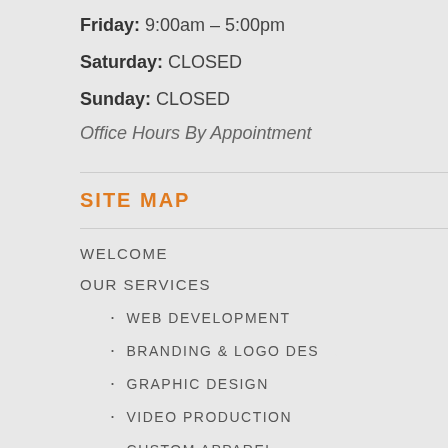Friday: 9:00am – 5:00pm
Saturday: CLOSED
Sunday: CLOSED
Office Hours By Appointment
SITE MAP
WELCOME
OUR SERVICES
· WEB DEVELOPMENT
· BRANDING & LOGO DES...
· GRAPHIC DESIGN
· VIDEO PRODUCTION
· CUSTOM APPAREL
[Figure (infographic): 10 Years In Business celebration popup with champagne glasses on dark background. Text: WE ARE PROUD TO CELEBRATE 10 YEARS IN BUSINESS. THANK YOU TO ALL OF OUR CLIENTS, FRIENDS & FAMILY. WE COULD NOT HAVE MADE IT WITHOUT YOUR SUPPORT. CHEERS TO THE NEXT 10 YEARS!]